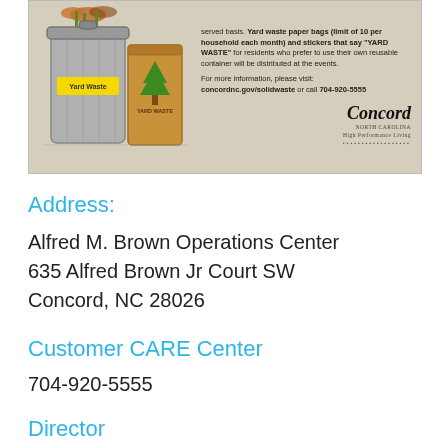[Figure (illustration): Yard waste illustration showing a gray trash can labeled 'Yard Waste' with a yellow label, and a brown paper bag labeled 'YARD WASTE' with a green tree symbol. Text alongside describes yard waste paper bags (limit of 10 per household each month) and stickers, with website concordnc.gov/solidwaste and phone 704-920-5555, plus the Concord city logo.]
Address:
Alfred M. Brown Operations Center
635 Alfred Brown Jr Court SW
Concord, NC 28026
Customer CARE Center
704-920-5555
Director